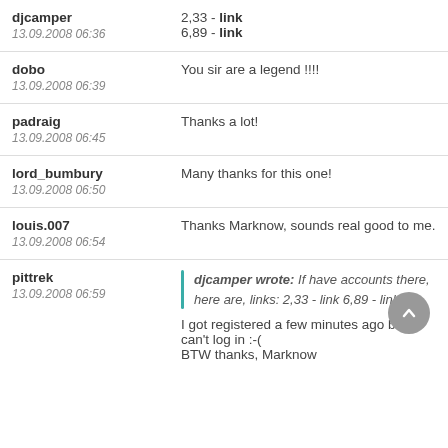djcamper 13.09.2008 06:36 | 2,33 - link 6,89 - link
dobo 13.09.2008 06:39 | You sir are a legend !!!!
padraig 13.09.2008 06:45 | Thanks a lot!
lord_bumbury 13.09.2008 06:50 | Many thanks for this one!
louis.007 13.09.2008 06:54 | Thanks Marknow, sounds real good to me.
pittrek 13.09.2008 06:59 | [quote: djcamper wrote: If have accounts there, here are, links: 2,33 - link 6,89 - link] I got registered a few minutes ago but I can't log in :-( BTW thanks, Marknow